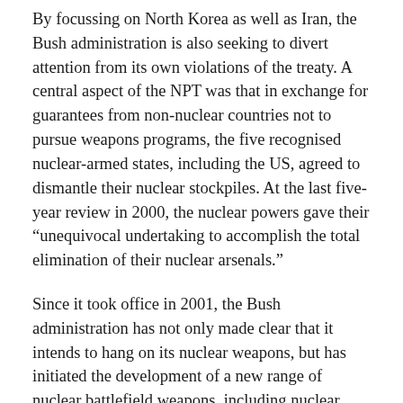By focussing on North Korea as well as Iran, the Bush administration is also seeking to divert attention from its own violations of the treaty. A central aspect of the NPT was that in exchange for guarantees from non-nuclear countries not to pursue weapons programs, the five recognised nuclear-armed states, including the US, agreed to dismantle their nuclear stockpiles. At the last five-year review in 2000, the nuclear powers gave their “unequivocal undertaking to accomplish the total elimination of their nuclear arsenals.”
Since it took office in 2001, the Bush administration has not only made clear that it intends to hang on its nuclear weapons, but has initiated the development of a new range of nuclear battlefield weapons, including nuclear devices aimed at destroying heavily-protected underground bunkers. The 2000 review also endorsed the maintenance of the Anti-Ballistic Missile Treaty and the ratification of a comprehensive nuclear test ban treaty,